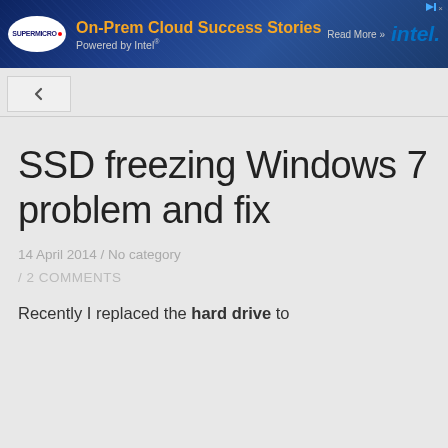[Figure (screenshot): Advertisement banner for Supermicro On-Prem Cloud Success Stories powered by Intel, with blue server rack background, Supermicro logo, orange headline text, and Intel logo]
SSD freezing Windows 7 problem and fix
14 April 2014 / No category
/ 2 COMMENTS
Recently I replaced the hard drive to